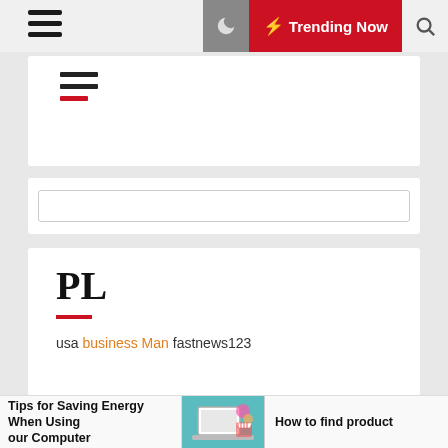Trending Now
[Figure (screenshot): Navigation bar with hamburger menu, moon icon, red Trending Now button, and search icon]
[Figure (screenshot): Search input box]
PL
usa business Man fastnews123
MG
Tips for Saving Energy When Using our Computer
How to find product